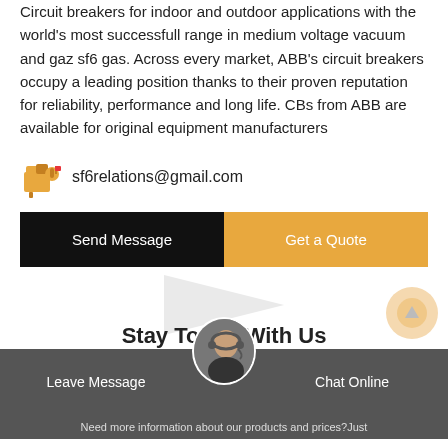Circuit breakers for indoor and outdoor applications with the world's most successfull range in medium voltage vacuum and gaz sf6 gas. Across every market, ABB's circuit breakers occupy a leading position thanks to their proven reputation for reliability, performance and long life. CBs from ABB are available for original equipment manufacturers
sf6relations@gmail.com
Send Message
Get a Quote
Stay Touch With Us
Leave Message | Chat Online | Need more information about our products and prices?Just